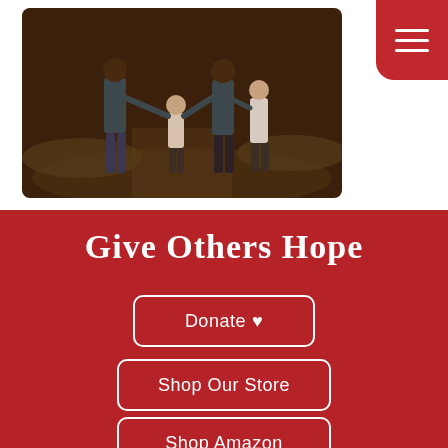[Figure (photo): Family of four walking away from camera on a path — two adults holding hands with a toddler in the middle and a child on the right, outdoors at dusk with a warm dark background]
[Figure (other): Red hamburger menu button with three white horizontal lines, rounded bottom-left corner, top-right of page]
Give Others Hope
Donate ♥
Shop Our Store
Shop Amazon